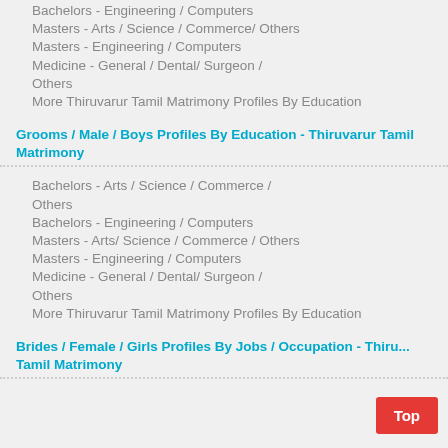Bachelors - Engineering / Computers
Masters - Arts / Science / Commerce/ Others
Masters - Engineering / Computers
Medicine - General / Dental/ Surgeon / Others
More Thiruvarur Tamil Matrimony Profiles By Education
Grooms / Male / Boys Profiles By Education - Thiruvarur Tamil Matrimony
Bachelors - Arts / Science / Commerce / Others
Bachelors - Engineering / Computers
Masters - Arts/ Science / Commerce / Others
Masters - Engineering / Computers
Medicine - General / Dental/ Surgeon / Others
More Thiruvarur Tamil Matrimony Profiles By Education
Brides / Female / Girls Profiles By Jobs / Occupation - Thiruvarur Tamil Matrimony